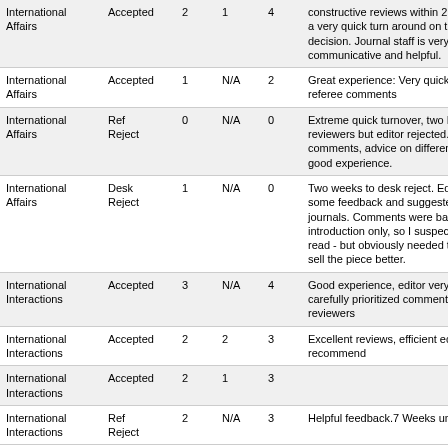| Journal | Decision |  |  |  | Comments |
| --- | --- | --- | --- | --- | --- |
| International Affairs | Accepted | 2 | 1 | 4 | constructive reviews within 2 months and a very quick turn around on the revisions decision. Journal staff is very communicative and helpful. |
| International Affairs | Accepted | 1 | N/A | 2 | Great experience: Very quick, with helpful referee comments |
| International Affairs | Ref Reject | 0 | N/A | 0 | Extreme quick turnover, two R&Rs from reviewers but editor rejected. Helpful comments, advice on different journals, good experience. |
| International Affairs | Desk Reject | 1 | N/A | 0 | Two weeks to desk reject. Editor provided some feedback and suggested alternative journals. Comments were based on the introduction only, so I suspect that's all he read - but obviously needed to frame and sell the piece better. |
| International Interactions | Accepted | 3 | N/A | 4 | Good experience, editor very helpful and carefully prioritized comments of reviewers |
| International Interactions | Accepted | 2 | 2 | 3 | Excellent reviews, efficient editors, highly recommend |
| International Interactions | Accepted | 2 | 1 | 3 |  |
| International Interactions | Ref Reject | 2 | N/A | 3 | Helpful feedback.7 Weeks under review. |